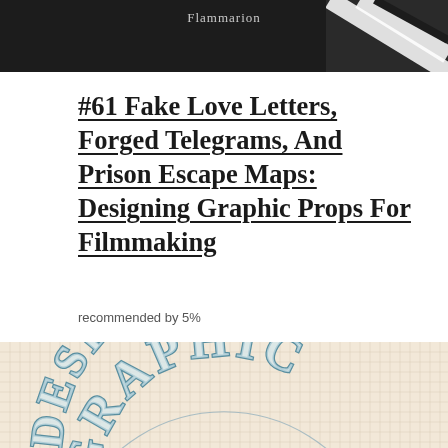[Figure (photo): Dark background image with 'Flammarion' text in light gray and diagonal stripe pattern on the right side]
#61 Fake Love Letters, Forged Telegrams, And Prison Escape Maps: Designing Graphic Props For Filmmaking
recommended by 5%
[Figure (photo): Book cover image on a grid paper background showing 'DESIGNING GRAPHIC' text in a curved, vintage style with teal/blue lettering]